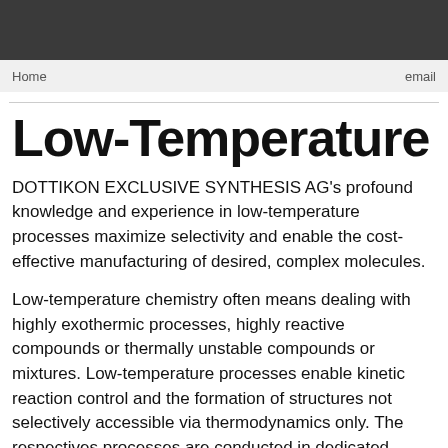Home   email
Low-Temperature
DOTTIKON EXCLUSIVE SYNTHESIS AG's profound knowledge and experience in low-temperature processes maximize selectivity and enable the cost-effective manufacturing of desired, complex molecules.
Low-temperature chemistry often means dealing with highly exothermic processes, highly reactive compounds or thermally unstable compounds or mixtures. Low-temperature processes enable kinetic reaction control and the formation of structures not selectively accessible via thermodynamics only. The respectives processes are conducted in dedicated equipment and allow DOTTIKON